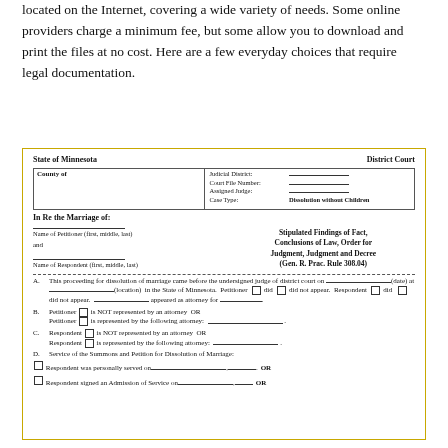located on the Internet, covering a wide variety of needs. Some online providers charge a minimum fee, but some allow you to download and print the files at no cost. Here are a few everyday choices that require legal documentation.
[Figure (other): Minnesota District Court legal form: Stipulated Findings of Fact, Conclusions of Law, Order for Judgment, Judgment and Decree (Gen. R. Prac. Rule 308.04). Form includes County of, Judicial District, Court File Number, Assigned Judge, Case Type fields, petitioner and respondent name lines, and sections A through D covering court appearance, attorney representation, and service of summons.]